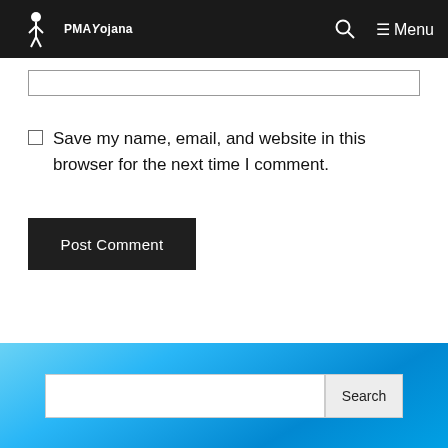PMAYojana — Menu
Save my name, email, and website in this browser for the next time I comment.
Post Comment
Search